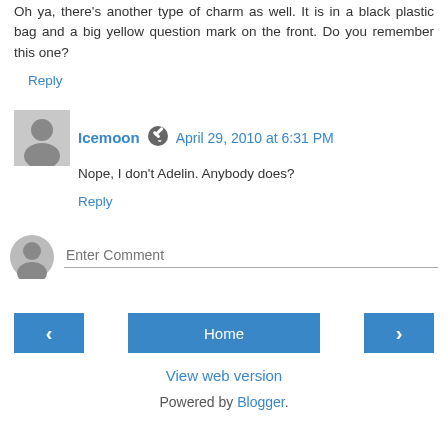Oh ya, there's another type of charm as well. It is in a black plastic bag and a big yellow question mark on the front. Do you remember this one?
Reply
Icemoon  April 29, 2010 at 6:31 PM
Nope, I don't Adelin. Anybody does?
Reply
Enter Comment
Home
View web version
Powered by Blogger.